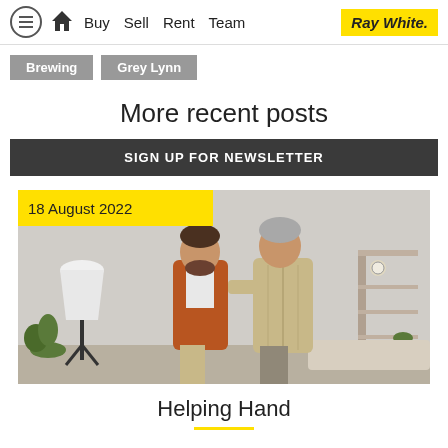Buy  Sell  Rent  Team  Ray White.
Brewing
Grey Lynn
More recent posts
SIGN UP FOR NEWSLETTER
[Figure (photo): Two men, one younger in an orange shirt and one older in a beige knit cardigan, smiling at each other in a home interior setting. Date badge reads: 18 August 2022]
18 August 2022
Helping Hand